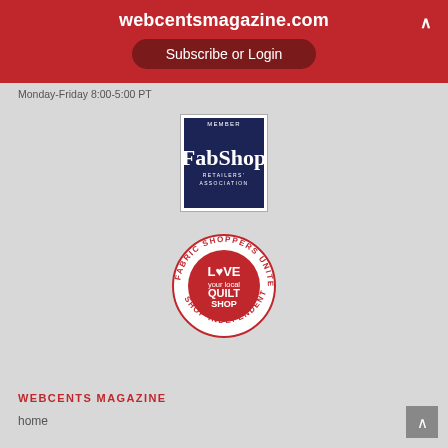webcentsmagazine.com
Subscribe or Login
Monday-Friday 8:00-5:00 PT
[Figure (logo): FabShop Retailers Association MEMBER badge — dark navy blue badge with white text reading MEMBER at top, FabShop in large serif font, RETAILERS ASSOCIATION below]
[Figure (logo): Circular badge reading FABRIC SHOPPERS UNITE around the top, LOVE your local QUILT SHOP in the center with a heart, SHOP INDEPENDENTS around the bottom. Red and white color scheme.]
WEBCENTS MAGAZINE
home